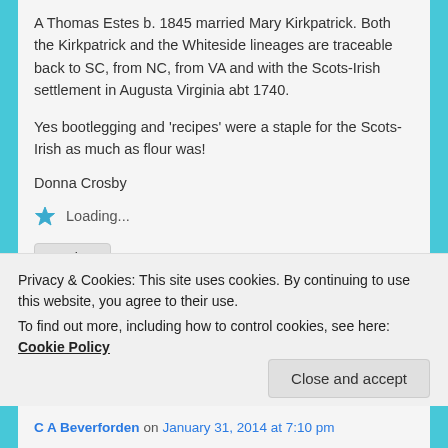A Thomas Estes b. 1845 married Mary Kirkpatrick. Both the Kirkpatrick and the Whiteside lineages are traceable back to SC, from NC, from VA and with the Scots-Irish settlement in Augusta Virginia abt 1740.
Yes bootlegging and 'recipes' were a staple for the Scots-Irish as much as flour was!
Donna Crosby
Loading...
Reply ↓
Privacy & Cookies: This site uses cookies. By continuing to use this website, you agree to their use.
To find out more, including how to control cookies, see here: Cookie Policy
Close and accept
C A Beverforden on January 31, 2014 at 7:10 pm